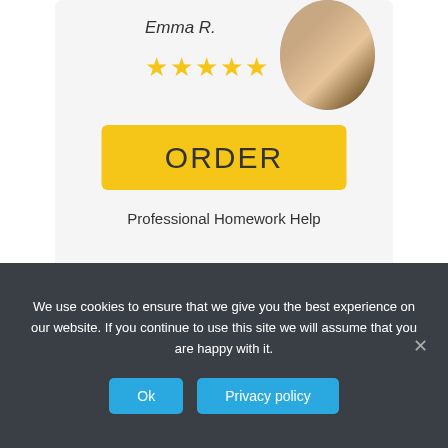Emma R.
[Figure (illustration): Five yellow star rating icons]
[Figure (photo): Circular profile photo of a person in orange/yellow outfit]
ORDER
Professional Homework Help
[Figure (illustration): Peach/beige colored box in second card section]
We use cookies to ensure that we give you the best experience on our website. If you continue to use this site we will assume that you are happy with it.
Ok
Privacy policy